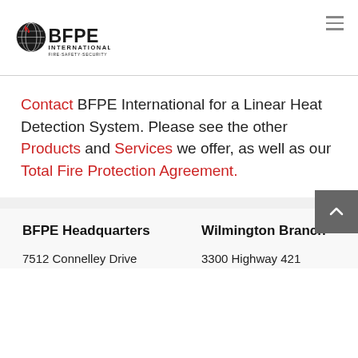[Figure (logo): BFPE International logo — globe/flame icon with BFPE text and INTERNATIONAL / FIRE·SAFETY·SECURITY text below]
Contact BFPE International for a Linear Heat Detection System. Please see the other Products and Services we offer, as well as our Total Fire Protection Agreement.
BFPE Headquarters
7512 Connelley Drive
Wilmington Branch
3300 Highway 421